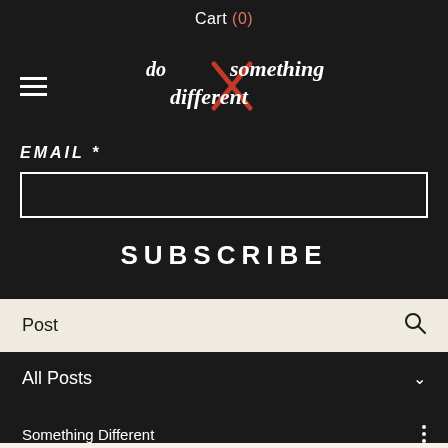Cart (0)
[Figure (logo): Something Different brand logo — stylized serif/script text 'do something different' with a red X mark overlay]
EMAIL *
SUBSCRIBE
Post
All Posts
Something Different